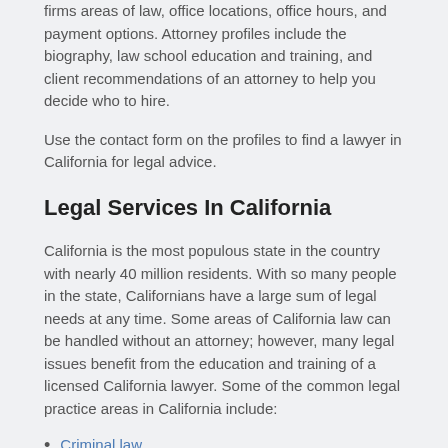firms areas of law, office locations, office hours, and payment options. Attorney profiles include the biography, law school education and training, and client recommendations of an attorney to help you decide who to hire.
Use the contact form on the profiles to find a lawyer in California for legal advice.
Legal Services In California
California is the most populous state in the country with nearly 40 million residents. With so many people in the state, Californians have a large sum of legal needs at any time. Some areas of California law can be handled without an attorney; however, many legal issues benefit from the education and training of a licensed California lawyer. Some of the common legal practice areas in California include:
Criminal law
Business law
Real estate
DUI defense
Personal injury
Workers' compensation
Medical malpractice